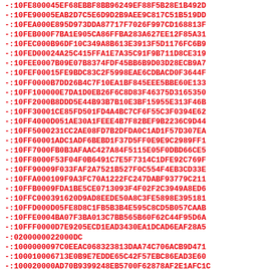-:10FE800045EF68EBBF8BB96249EF88F5B28E1B492D
-:10FE90005EAB2D7C5E6D9D2B9AEE9C817C51B519DD
-:10FEA000E895D973DDA87717F7026F997CD168813F
-:10FEB000F7BA1E905CA86FFBA283A627EE12F85A31
-:10FEC000B96DF10C349A8B613E3913F5D1176FC6B9
-:10FED00024A25C415FFA1E7A35C91F9B711D8CE319
-:10FEE0007B09E07B8374FDF45BB6B9D03D28ECB9A7
-:10FEF00015FE9BDC83C2F5998EAE6CDBACD0F3644F
-:10FF0000B7DD26B4C7F10EA1BF845EEE5BBE60E133
-:10FF100000E7DA1D0EB26F6C8D83F46375D3165350
-:10FF2000B8DDD5E44B93B7B10E3BF15955E313F46B
-:10FF30001CE85FD501FD4A4BC7CF6F55C3F0394E62
-:10FF4000D051AE30A1FEEE4B7F82BEF9B2236C9D44
-:10FF5000231CC2AE08FD7B2DFDA0C1AD1F57D307EA
-:10FF60001ADC1ADF6BEBD1F37D5FF0E9E9C2989FF1
-:10FF7000FB0B3AFAAC427A84F5115E05F0DBD66CE5
-:10FF8000F53F04F0B6491C7E5F7314C1DFE92C769F
-:10FF90009F033FAF2A7521B527F0C554F4EB3CD33E
-:10FFA000109F9A3FC70A1222FC247DABF93779C211
-:10FFB0009FDA1BE5CE0713093F4F02F2C3949A8ED6
-:10FFC0003916200D9AD8EEDE50A8C3FE5898E395181
-:10FFD000D05FE8D8C1FB5B3B4E595C8CD5B057CAAB
-:10FFE0004BA07F3BA013C7BB565B60F62C44F95D6A
-:10FFF0000D7E9205ECD1EAD3430EA1DCAD6EAF28A5
-:0200000022000DC
-:1000000097C0EEAC068323813DAA74C706ACB9D471
-:1000100067l3E0B9E7EDDE65C42F57EBC86EAD3E60
-:100020000AD70B9399248EB5700F62878AF2E1AFC1C
-:100030005BC0575DBCC5559B49D77D51F1D877ABAD
-:100040006AD8758D1EF81EC25167606E07B4AD4741